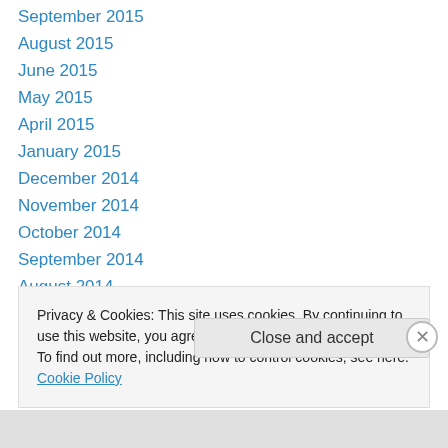September 2015
August 2015
June 2015
May 2015
April 2015
January 2015
December 2014
November 2014
October 2014
September 2014
August 2014
July 2014
May 2014
Privacy & Cookies: This site uses cookies. By continuing to use this website, you agree to their use.
To find out more, including how to control cookies, see here: Cookie Policy
Close and accept